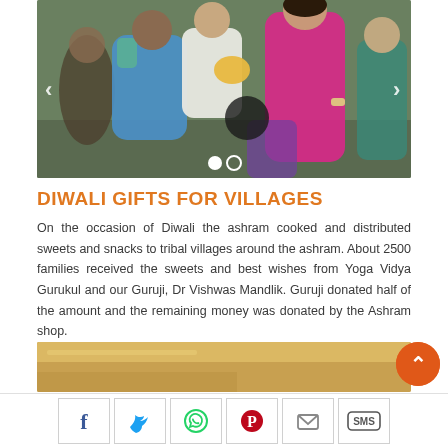[Figure (photo): Photo of people distributing sweets/food during Diwali. A woman in a blue sari, person in white shirt, and woman in pink kurta are seen handing items to others. Two carousel dots visible at bottom.]
DIWALI GIFTS FOR VILLAGES
On the occasion of Diwali the ashram cooked and distributed sweets and snacks to tribal villages around the ashram. About 2500 families received the sweets and best wishes from Yoga Vidya Gurukul and our Guruji, Dr Vishwas Mandlik. Guruji donated half of the amount and the remaining money was donated by the Ashram shop.
[Figure (photo): Bottom partial image showing a golden/yellow surface, possibly a tray or container of sweets.]
Social share buttons: Facebook, Twitter, WhatsApp, Pinterest, Email, SMS